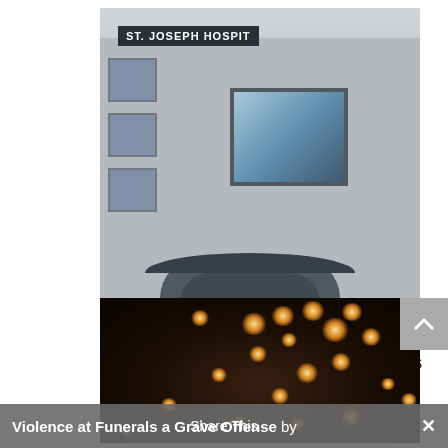[Figure (photo): Exterior of St. Joseph Hospital building with sign visible at top]
Catholic Leaders Condemn Acts of Violence at Journalist's...
by Zach Dawes Jr  May 18, 2022
[Figure (photo): Many lit candles in darkness, warm golden light]
Violence at Funerals a Grave Offense by
Share This